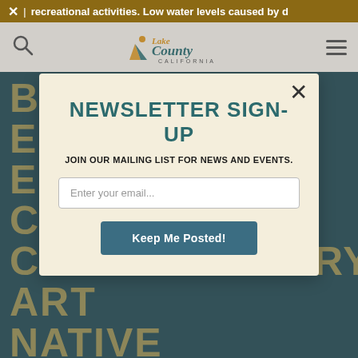× | recreational activities. Low water levels caused by d
[Figure (logo): Lake County California logo with mountain/person icon]
NEWSLETTER SIGN-UP
JOIN OUR MAILING LIST FOR NEWS AND EVENTS.
Enter your email...
Keep Me Posted!
CONTEMPORARY ART NATIVE AMERICAN ART JULY 9 - OCT